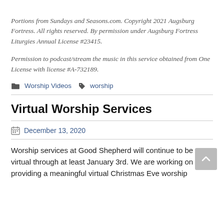Portions from Sundays and Seasons.com. Copyright 2021 Augsburg Fortress. All rights reserved. By permission under Augsburg Fortress Liturgies Annual License #23415.
Permission to podcast/stream the music in this service obtained from One License with license #A-732189.
Worship Videos  worship
Virtual Worship Services
December 13, 2020
Worship services at Good Shepherd will continue to be virtual through at least January 3rd. We are working on providing a meaningful virtual Christmas Eve worship